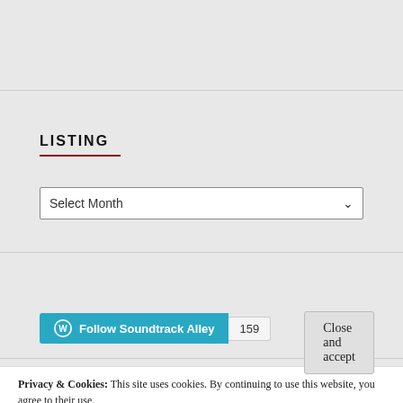LISTING
Select Month
[Figure (other): Follow Soundtrack Alley WordPress follow button with count badge showing 159]
Privacy & Cookies: This site uses cookies. By continuing to use this website, you agree to their use.
To find out more, including how to control cookies, see here: Cookie Policy
Close and accept
[Figure (photo): Two partial photo thumbnails at bottom of page showing people]